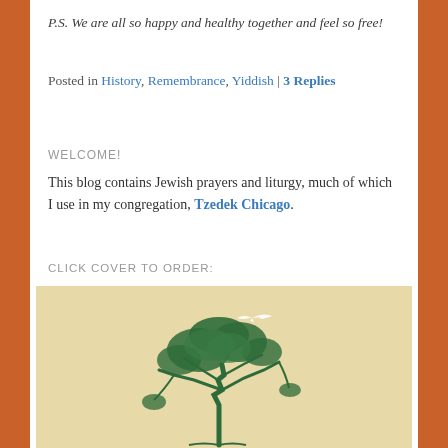P.S. We are all so happy and healthy together and feel so free!
Posted in History, Remembrance, Yiddish | 3 Replies
WELCOME!
This blog contains Jewish prayers and liturgy, much of which I use in my congregation, Tzedek Chicago.
CLICK COVER TO ORDER:
[Figure (illustration): Book cover with beige/tan background showing a green illustrated tree with a white bird flying above it.]